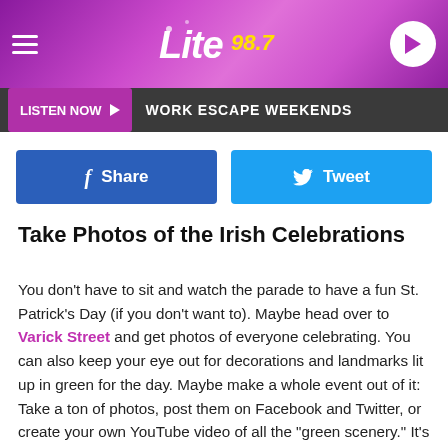Lite 98.7
LISTEN NOW  WORK ESCAPE WEEKENDS
[Figure (screenshot): Facebook Share and Twitter Tweet social share buttons]
Take Photos of the Irish Celebrations
You don't have to sit and watch the parade to have a fun St. Patrick's Day (if you don't want to). Maybe head over to Varick Street and get photos of everyone celebrating. You can also keep your eye out for decorations and landmarks lit up in green for the day. Maybe make a whole event out of it: Take a ton of photos, post them on Facebook and Twitter, or create your own YouTube video of all the "green scenery." It's a nice way to do something different on St. Patty's Day. You don't have to stay around to join the holiday...